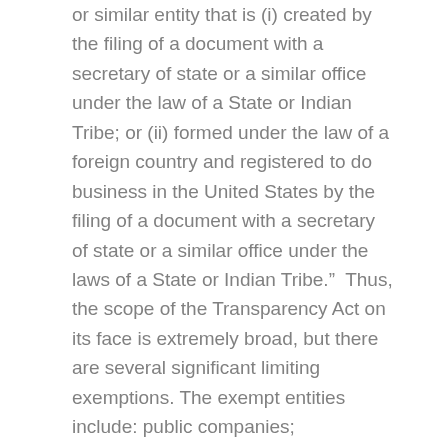or similar entity that is (i) created by the filing of a document with a secretary of state or a similar office under the law of a State or Indian Tribe; or (ii) formed under the law of a foreign country and registered to do business in the United States by the filing of a document with a secretary of state or a similar office under the laws of a State or Indian Tribe.”  Thus, the scope of the Transparency Act on its face is extremely broad, but there are several significant limiting exemptions. The exempt entities include: public companies; governmental entities; banks and bank holding companies; credit unions; broker dealers; registered investment companies; registered investment advisers; insurance companies; registered public accounting